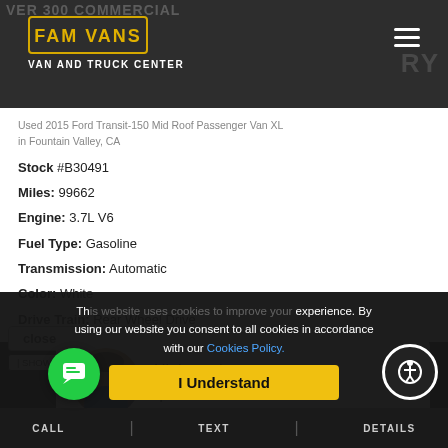FAM VANS VAN AND TRUCK CENTER
Used 2015 Ford Transit-150 Mid Roof Passenger Van XL in Fountain Valley, CA
Stock #B30491
Miles: 99662
Engine: 3.7L V6
Fuel Type: Gasoline
Transmission: Automatic
Color: White
Drive Train: Rear Wheel Drive
close | SHOW ME THE FREE
Hi there, have a question? Text us here!
This website uses cookies to improve your experience. By using our website you consent to all cookies in accordance with our Cookies Policy.
I Understand
CALL  TEXT  DETAILS